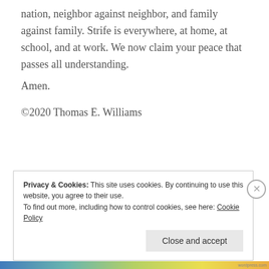nation, neighbor against neighbor, and family against family. Strife is everywhere, at home, at school, and at work. We now claim your peace that passes all understanding.
Amen.
©2020 Thomas E. Williams
Privacy & Cookies: This site uses cookies. By continuing to use this website, you agree to their use.
To find out more, including how to control cookies, see here: Cookie Policy
Close and accept